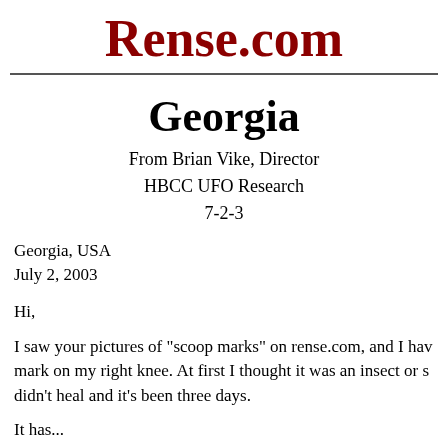Rense.com
Georgia
From Brian Vike, Director
HBCC UFO Research
7-2-3
Georgia, USA
July 2, 2003
Hi,
I saw your pictures of "scoop marks" on rense.com, and I have a mark on my right knee. At first I thought it was an insect or s didn't heal and it's been three days.
It has... [continues]